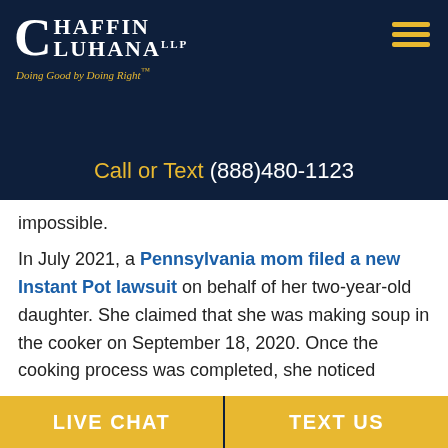[Figure (logo): Chaffin Luhana LLP law firm logo with tagline 'Doing Good by Doing Right' on dark navy header]
Call or Text (888)480-1123
impossible.
In July 2021, a Pennsylvania mom filed a new Instant Pot lawsuit on behalf of her two-year-old daughter. She claimed that she was making soup in the cooker on September 18, 2020. Once the cooking process was completed, she noticed
LIVE CHAT | TEXT US